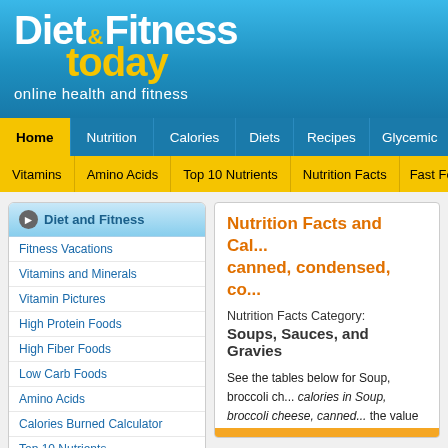Diet & Fitness today — online health and fitness
Home | Nutrition | Calories | Diets | Recipes | Glycemic | F...
Vitamins | Amino Acids | Top 10 Nutrients | Nutrition Facts | Fast Food N...
Diet and Fitness
Fitness Vacations
Vitamins and Minerals
Vitamin Pictures
High Protein Foods
High Fiber Foods
Low Carb Foods
Amino Acids
Calories Burned Calculator
Top 10 Nutrients
Nutrition Facts
Food sorted by nutrients
Nutrition Facts and Cal... canned, condensed, co...
Nutrition Facts Category:
Soups, Sauces, and Gravies
See the tables below for Soup, broccoli ch... calories in Soup, broccoli cheese, canned... the value in the box below and press 'reso... canned, condensed, commercial.